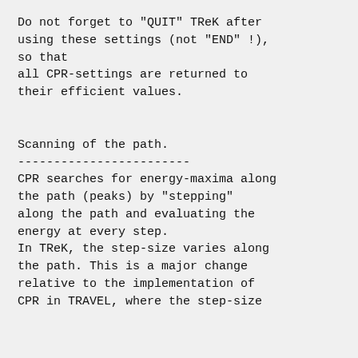Do not forget to "QUIT" TReK after using these settings (not "END" !), so that all CPR-settings are returned to their efficient values.
Scanning of the path.
CPR searches for energy-maxima along the path (peaks) by "stepping" along the path and evaluating the energy at every step.
In TReK, the step-size varies along the path. This is a major change relative to the implementation of CPR in TRAVEL, where the step-size